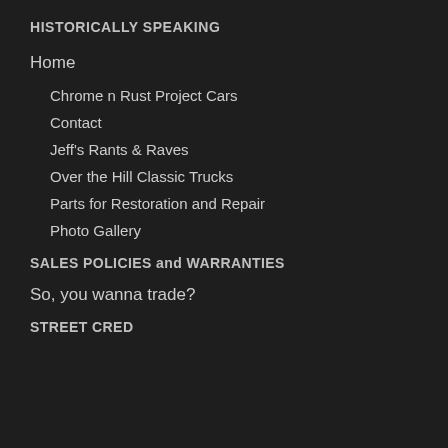HISTORICALLY SPEAKING
Home
Chrome n Rust Project Cars
Contact
Jeff's Rants & Raves
Over the Hill Classic Trucks
Parts for Restoration and Repair
Photo Gallery
SALES POLICIES and WARRANTIES
So, you wanna trade?
STREET CRED